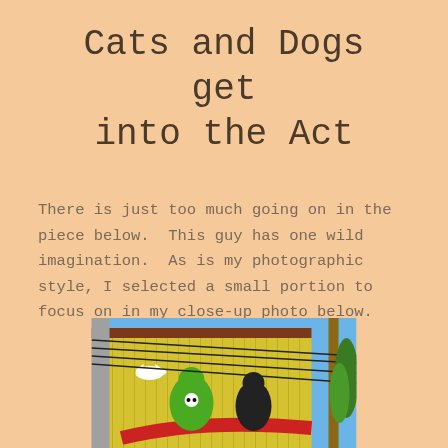Cats and Dogs get into the Act
There is just too much going on in the piece below.  This guy has one wild imagination.  As is my photographic style, I selected a small portion to focus on in my close-up photo below.
[Figure (photo): Photo of a yellow corrugated metal building wall with a colorful mural depicting superhero-like cartoon characters (one green monster with skull, one dark figure) and a white bird with wings, with power lines crossing overhead and a wooden utility pole on the right, blue sky in background.]